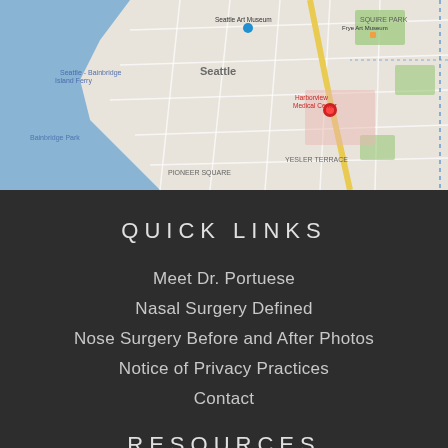[Figure (map): Google Maps view of Seattle area showing Pioneer Square, Yesler Terrace, Squire Park, Seattle Art Museum, Frye Art Museum, and Harborview Medical Center highlighted with a red marker.]
QUICK LINKS
Meet Dr. Portuese
Nasal Surgery Defined
Nose Surgery Before and After Photos
Notice of Privacy Practices
Contact
RESOURCES